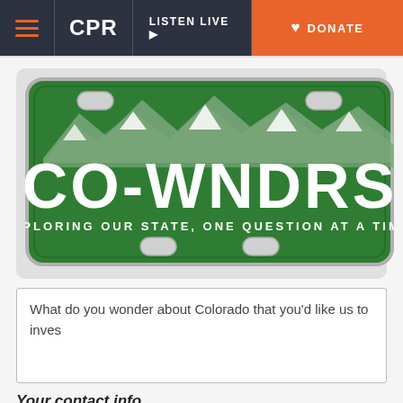CPR | LISTEN LIVE | DONATE
[Figure (illustration): Colorado license plate graphic with green background, mountain silhouette, text CO-WNDRS and subtitle EXPLORING OUR STATE, ONE QUESTION AT A TIME.]
What do you wonder about Colorado that you'd like us to inves
Your contact info